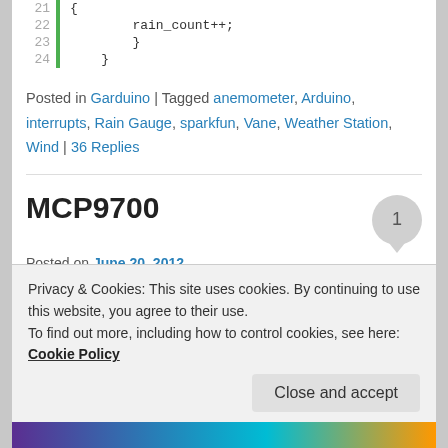[Figure (screenshot): Code block showing lines 21-24 of Arduino/C code with green gutter bar. Line 21: '{', Line 22: 'rain_count++;', Line 23: '}', Line 24: '}']
Posted in Garduino | Tagged anemometer, Arduino, interrupts, Rain Gauge, sparkfun, Vane, Weather Station, Wind | 36 Replies
MCP9700
Posted on June 20, 2012
Soil temperature is one of the things the Garduino monitors.  Unfortunately, soil is a harsh environment and
Privacy & Cookies: This site uses cookies. By continuing to use this website, you agree to their use.
To find out more, including how to control cookies, see here: Cookie Policy